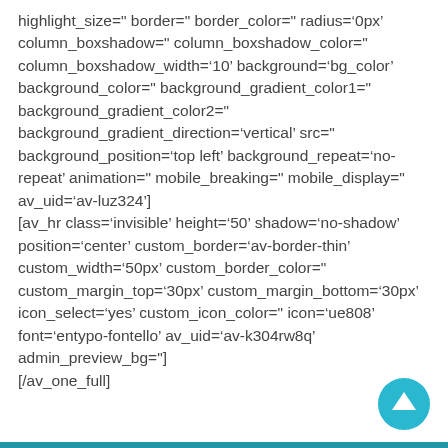highlight_size=" border=" border_color=" radius='0px' column_boxshadow=" column_boxshadow_color=" column_boxshadow_width='10' background='bg_color' background_color=" background_gradient_color1=" background_gradient_color2=" background_gradient_direction='vertical' src=" background_position='top left' background_repeat='no-repeat' animation=" mobile_breaking=" mobile_display=" av_uid='av-luz324']
[av_hr class='invisible' height='50' shadow='no-shadow' position='center' custom_border='av-border-thin' custom_width='50px' custom_border_color=" custom_margin_top='30px' custom_margin_bottom='30px' icon_select='yes' custom_icon_color=" icon='ue808' font='entypo-fontello' av_uid='av-k304rw8q' admin_preview_bg="]
[/av_one_full]
[Figure (other): Cyan circular scroll-to-top button with upward arrow icon]